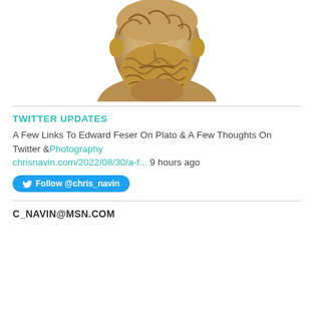[Figure (photo): Sepia-toned bust sculpture of a bearded ancient Greek or Roman philosopher, cropped at the neck, centered at top of page]
TWITTER UPDATES
A Few Links To Edward Feser On Plato & A Few Thoughts On Twitter &@Photography chrisnavin.com/2022/08/30/a-f... 9 hours ago
Follow @chris_navin
C_NAVIN@MSN.COM